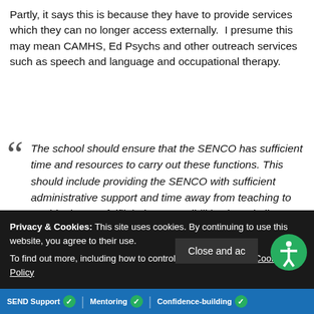Partly, it says this is because they have to provide services which they can no longer access externally.  I presume this may mean CAMHS, Ed Psychs and other outreach services such as speech and language and occupational therapy.
The school should ensure that the SENCO has sufficient time and resources to carry out these functions. This should include providing the SENCO with sufficient administrative support and time away from teaching to enable them to fulfil their responsibilities in a similar way to other important strategic roles within a school.
6.91 SEND CODE OF PRACTICE
Privacy & Cookies: This site uses cookies. By continuing to use this website, you agree to their use. To find out more, including how to control cookies, see here: Cookie Policy
Close and accept
SEND Support  Mentoring  Confidence-building